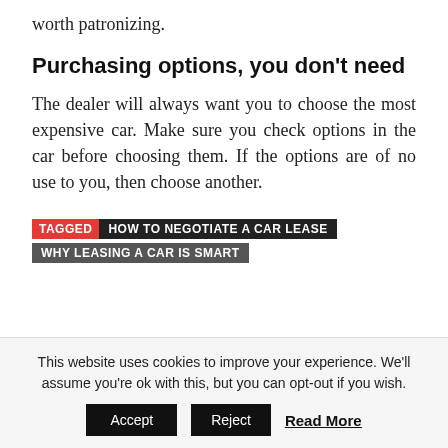worth patronizing.
Purchasing options, you don't need
The dealer will always want you to choose the most expensive car. Make sure you check options in the car before choosing them. If the options are of no use to you, then choose another.
TAGGED  HOW TO NEGOTIATE A CAR LEASE
WHY LEASING A CAR IS SMART
This website uses cookies to improve your experience. We'll assume you're ok with this, but you can opt-out if you wish.
Accept   Reject   Read More